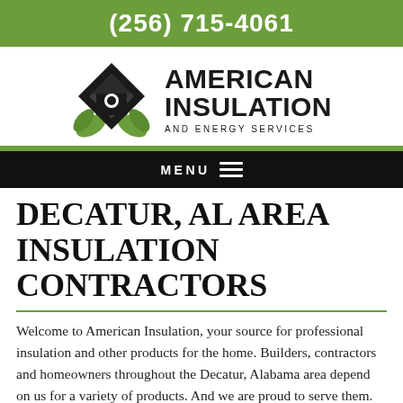(256) 715-4061
[Figure (logo): American Insulation and Energy Services logo: black diamond/house shape with white circle, green leaf accents, next to bold text 'AMERICAN INSULATION AND ENERGY SERVICES']
MENU
DECATUR, AL AREA INSULATION CONTRACTORS
Welcome to American Insulation, your source for professional insulation and other products for the home. Builders, contractors and homeowners throughout the Decatur, Alabama area depend on us for a variety of products. And we are proud to serve them.